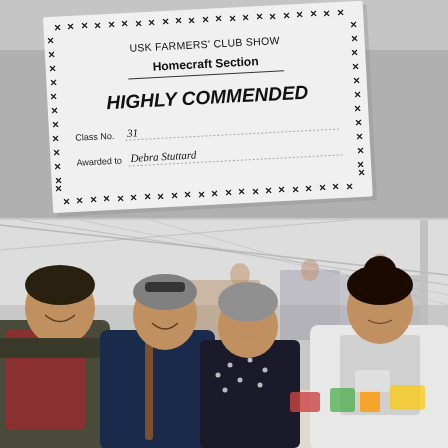[Figure (photo): Close-up photo of a certificate from USK Farmers' Club Show, Homecraft Section, awarded 'Highly Commended', Class No. 31, Awarded to Debra Stuttard]
[Figure (photo): Photo of four people inside a marquee tent at an agricultural show, gathered around a table looking at items. One man on the left, three women, one in a white jacket on the right.]